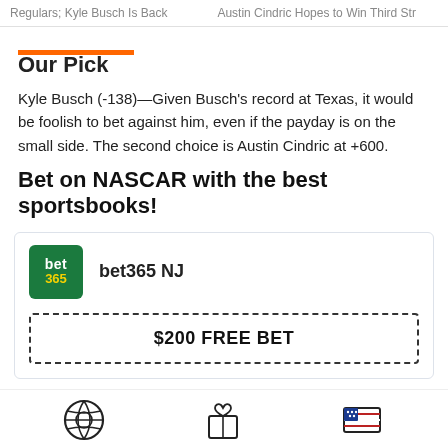Regulars; Kyle Busch Is Back    Austin Cindric Hopes to Win Third Str
Our Pick
Kyle Busch (-138)—Given Busch's record at Texas, it would be foolish to bet against him, even if the payday is on the small side. The second choice is Austin Cindric at +600.
Bet on NASCAR with the best sportsbooks!
[Figure (logo): bet365 logo — green square with 'bet' in white and '365' in yellow]
bet365 NJ
$200 FREE BET
[Figure (infographic): Footer navigation icons: Sportsbooks (soccer ball), Bonuses (gift box), State Guides (US flag map)]
Sportsbooks    Bonuses    State Guides